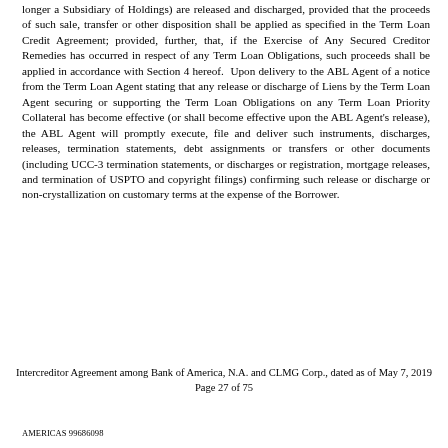longer a Subsidiary of Holdings) are released and discharged, provided that the proceeds of such sale, transfer or other disposition shall be applied as specified in the Term Loan Credit Agreement; provided, further, that, if the Exercise of Any Secured Creditor Remedies has occurred in respect of any Term Loan Obligations, such proceeds shall be applied in accordance with Section 4 hereof.  Upon delivery to the ABL Agent of a notice from the Term Loan Agent stating that any release or discharge of Liens by the Term Loan Agent securing or supporting the Term Loan Obligations on any Term Loan Priority Collateral has become effective (or shall become effective upon the ABL Agent's release), the ABL Agent will promptly execute, file and deliver such instruments, discharges, releases, termination statements, debt assignments or transfers or other documents (including UCC-3 termination statements, or discharges or registration, mortgage releases, and termination of USPTO and copyright filings) confirming such release or discharge or non-crystallization on customary terms at the expense of the Borrower.
Intercreditor Agreement among Bank of America, N.A. and CLMG Corp., dated as of May 7, 2019
Page 27 of 75
AMERICAS 99686098